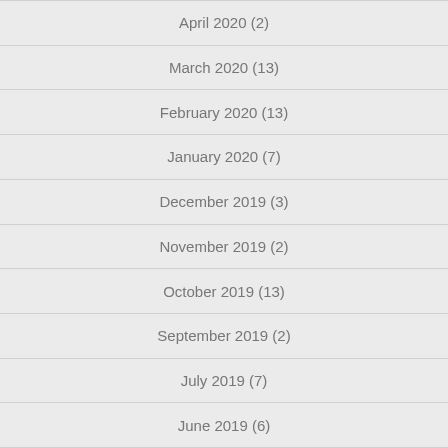April 2020 (2)
March 2020 (13)
February 2020 (13)
January 2020 (7)
December 2019 (3)
November 2019 (2)
October 2019 (13)
September 2019 (2)
July 2019 (7)
June 2019 (6)